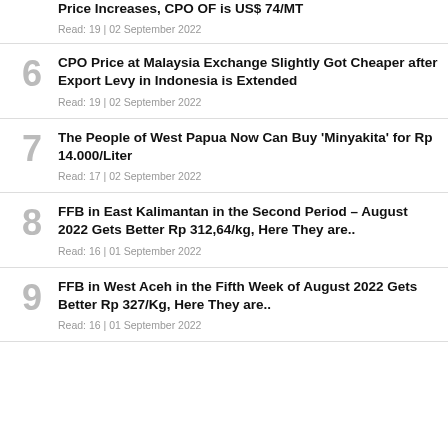Price Increases, CPO OF is US$ 74/MT
Read: 19 | 02 September 2022
6 CPO Price at Malaysia Exchange Slightly Got Cheaper after Export Levy in Indonesia is Extended
Read: 19 | 02 September 2022
7 The People of West Papua Now Can Buy 'Minyakita' for Rp 14.000/Liter
Read: 17 | 02 September 2022
8 FFB in East Kalimantan in the Second Period – August 2022 Gets Better Rp 312,64/kg, Here They are..
Read: 16 | 01 September 2022
9 FFB in West Aceh in the Fifth Week of August 2022 Gets Better Rp 327/Kg, Here They are..
Read: 16 | 01 September 2022